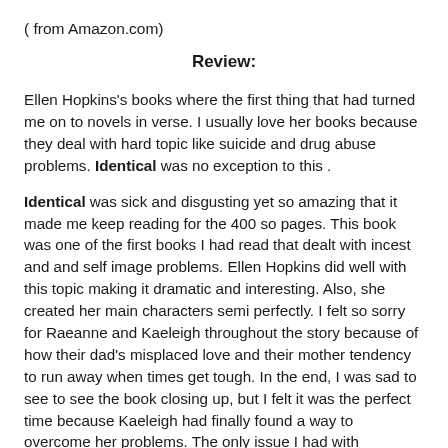( from Amazon.com)
Review:
Ellen Hopkins's books where the first thing that had turned me on to novels in verse. I usually love her books because they deal with hard topic like suicide and drug abuse problems. Identical was no exception to this .
Identical was sick and disgusting yet so amazing that it made me keep reading for the 400 so pages. This book was one of the first books I had read that dealt with incest and and self image problems. Ellen Hopkins did well with this topic making it dramatic and interesting. Also, she created her main characters semi perfectly. I felt so sorry for Raeanne and Kaeleigh throughout the story because of how their dad's misplaced love and their mother tendency to run away when times get tough. In the end, I was sad to see to see the book closing up, but I felt it was the perfect time because Kaeleigh had finally found a way to overcome her problems. The only issue I had with Identical was that I